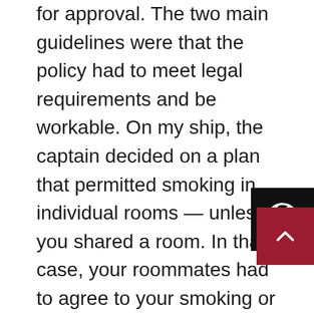for approval. The two main guidelines were that the policy had to meet legal requirements and be workable. On my ship, the captain decided on a plan that permitted smoking in individual rooms — unless you shared a room. In that case, your roommates had to agree to your smoking or it had to be done outside. Smoking wasn't allowed in the galley or mess room, but at workstations like the bridge or engine room it was, provided that all watchstanders agreed.

One day, as we were approaching Queen Charlotte Strait on the way from Seattle to Sitka, Alaska, I was navigating with a sailor at the helm in hand steering and a lookout on the port side of the wheelhouse. After we cleared Blackney Pass, put the helm back in autopilot, "On the mike," the assistant engineer stopped by to do a small
[Figure (other): Black square overlay with a circular swirl/spiral icon in white, positioned at right side mid-page]
[Figure (other): Dark red/crimson square button with white upward chevron arrow, positioned at bottom right]